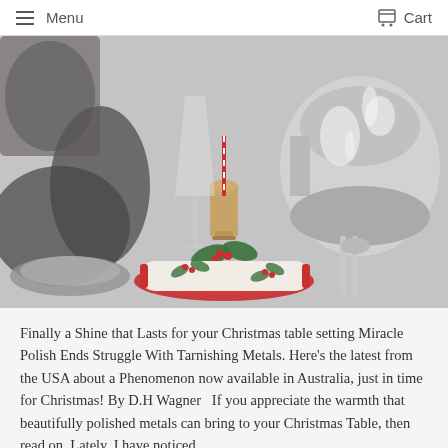Menu   Cart
[Figure (photo): Christmas table setting with polished silver tableware, crystal wine glasses, silver candlestick, and a Christmas cracker with holly pattern on a red plate]
Finally a Shine that Lasts for your Christmas table setting Miracle Polish Ends Struggle With Tarnishing Metals. Here's the latest from the USA about a Phenomenon now available in Australia, just in time for Christmas! By D.H Wagner   If you appreciate the warmth that beautifully polished metals can bring to your Christmas Table, then read on. Lately, I have noticed